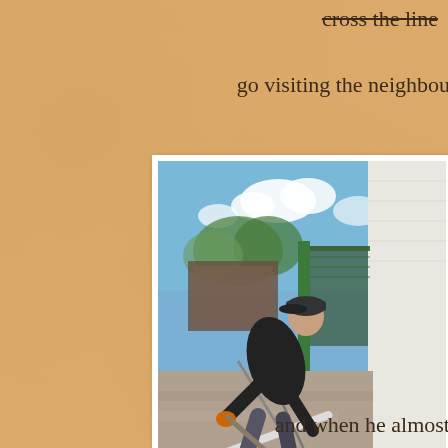cross the line
go visiting the neighbou
[Figure (photo): A man wearing a dark long-sleeve shirt and cap, bending over while working with a long-handled tool (possibly a rake or shovel) in a narrow outdoor passageway between a white brick house and a fence. The path has gravel and some garden tools visible. Blue sky with clouds visible in the background beyond a chain-link gate.]
and when he almost